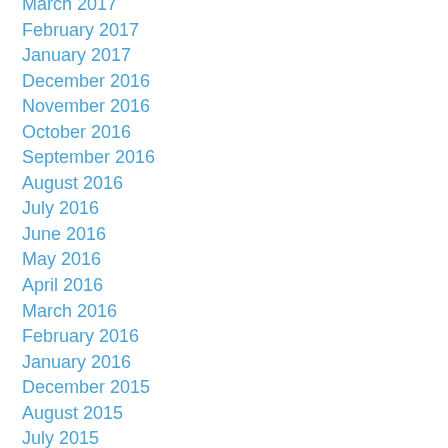March 2017
February 2017
January 2017
December 2016
November 2016
October 2016
September 2016
August 2016
July 2016
June 2016
May 2016
April 2016
March 2016
February 2016
January 2016
December 2015
August 2015
July 2015
June 2015
May 2015
April 2015